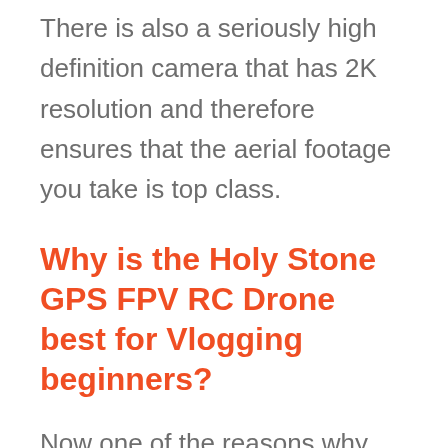There is also a seriously high definition camera that has 2K resolution and therefore ensures that the aerial footage you take is top class.
Why is the Holy Stone GPS FPV RC Drone best for Vlogging beginners?
Now one of the reasons why this device is the perfect one for beginners is that setting up will be a breeze so there is no requirement for technical know-how as all you have to do is install the camera and